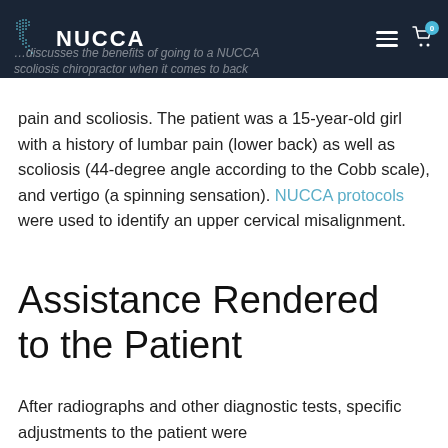NUCCA
pain and scoliosis. The patient was a 15-year-old girl with a history of lumbar pain (lower back) as well as scoliosis (44-degree angle according to the Cobb scale), and vertigo (a spinning sensation). NUCCA protocols were used to identify an upper cervical misalignment.
Assistance Rendered to the Patient
After radiographs and other diagnostic tests, specific adjustments to the patient were